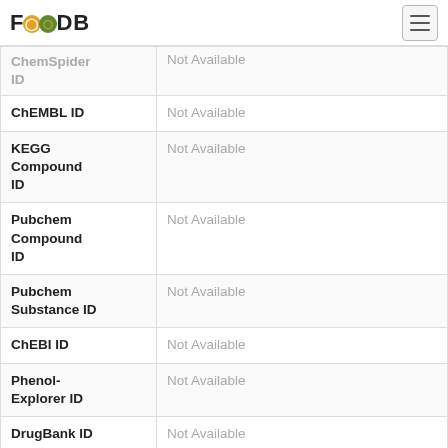FOODB
| Field | Value |
| --- | --- |
| ChemSpider ID | Not Available |
| ChEMBL ID | Not Available |
| KEGG Compound ID | Not Available |
| Pubchem Compound ID | Not Available |
| Pubchem Substance ID | Not Available |
| ChEBI ID | Not Available |
| Phenol-Explorer ID | Not Available |
| DrugBank ID | Not Available |
| HMDB ID | Not Available |